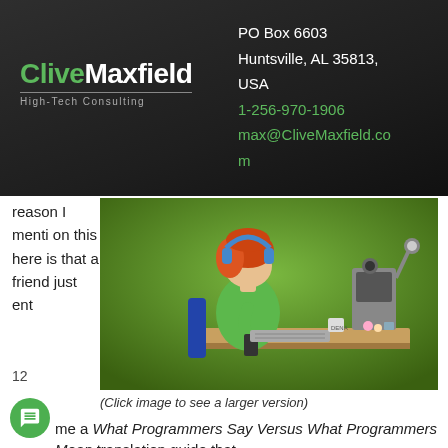[Figure (logo): CliveMaxfield High-Tech Consulting logo on dark background with contact info: PO Box 6603, Huntsville, AL 35813, USA, 1-256-970-1906, max@CliveMaxfield.com]
reason I mention this here is that a friend just ent
[Figure (photo): A figurine of a person with red hair and blue headphones sitting at a desk with a computer, keyboard, monitor and various items on a green background]
(Click image to see a larger version)
12
me a What Programmers Say Versus What Programmers Mean translation guide that